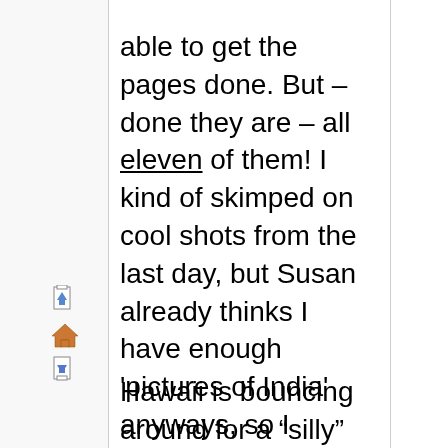able to get the pages done. But – done they are – all eleven of them! I kind of skimped on cool shots from the last day, but Susan already thinks I have enough 'pictures of India' anyways, so I guess that's no big deal.
[Figure (illustration): Three small navigation icons (page up, home, page down) in pixel art style]
[Figure (illustration): Four country flag icons stacked vertically: France, Germany, Spain, Italy]
Hawaii is bouncing around for a “silly” reason. All day long I have been unable to get the Christmas song